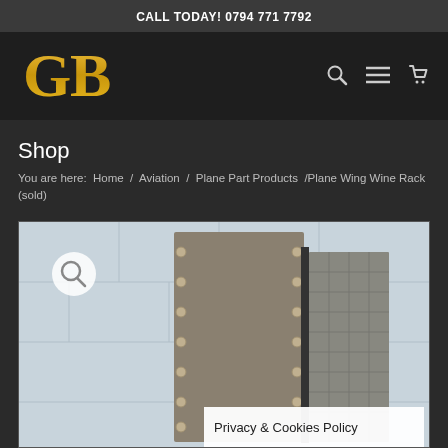CALL TODAY! 0794 771 7792
[Figure (logo): GB logo in gold on dark background with navigation icons (search, hamburger menu, cart)]
Shop
You are here:  Home  /  Aviation  /  Plane Part Products  / Plane Wing Wine Rack (sold)
[Figure (photo): Photo of a Plane Wing Wine Rack product showing a metal aircraft wing panel with rivets, displayed against a light background. A magnify/zoom icon is in the top left corner. A Privacy & Cookies Policy banner overlays the bottom right.]